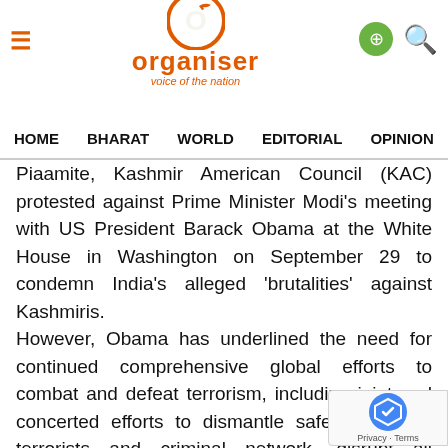Organiser — Voice of the Nation
HOME   BHARAT   WORLD   EDITORIAL   OPINION   ANA
Piaamite, Kashmir American Council (KAC) protested against Prime Minister Modi's meeting with US President Barack Obama at the White House in Washington on September 29 to condemn India's alleged 'brutalities' against Kashmiris. However, Obama has underlined the need for continued comprehensive global efforts to combat and defeat terrorism, including joint and concerted efforts to dismantle safe havens of terrorists and criminal network, disrupt all financial and tactical support for networks like al-Qaeda, Lashkar-e-Taiba, Jaish-e-Mohammad, D-Company and the Ha... Obama has also urged Pakistan to bri... perpetrators of the November 2008 terrorist attac...